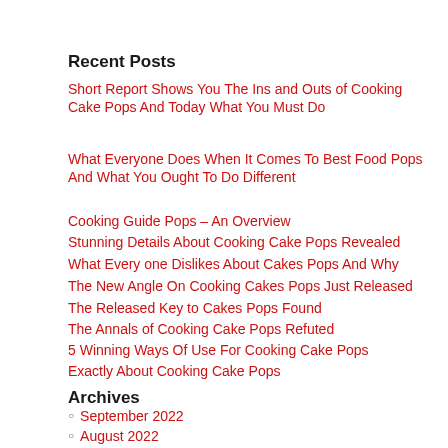Recent Posts
Short Report Shows You The Ins and Outs of Cooking Cake Pops And Today What You Must Do
What Everyone Does When It Comes To Best Food Pops And What You Ought To Do Different
Cooking Guide Pops – An Overview
Stunning Details About Cooking Cake Pops Revealed
What Every one Dislikes About Cakes Pops And Why
The New Angle On Cooking Cakes Pops Just Released
The Released Key to Cakes Pops Found
The Annals of Cooking Cake Pops Refuted
5 Winning Ways Of Use For Cooking Cake Pops
Exactly About Cooking Cake Pops
Archives
September 2022
August 2022